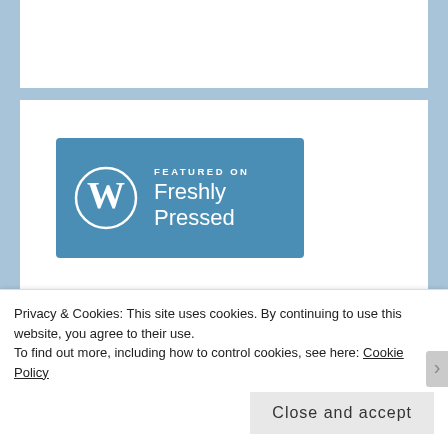[Figure (logo): WordPress 'Featured on Freshly Pressed' badge with WordPress logo on blue background]
RECENT COMMENTS
Prior... on My 17th's Fourth Quarter
Prior... on Anata no Warehouse at Kawasaki
Privacy & Cookies: This site uses cookies. By continuing to use this website, you agree to their use.
To find out more, including how to control cookies, see here: Cookie Policy
Close and accept